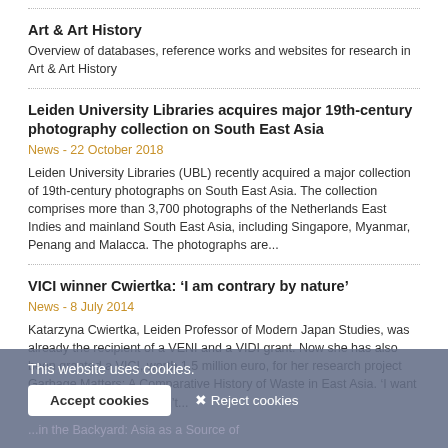Art & Art History
Overview of databases, reference works and websites for research in Art & Art History
Leiden University Libraries acquires major 19th-century photography collection on South East Asia
News - 22 October 2018
Leiden University Libraries (UBL) recently acquired a major collection of 19th-century photographs on South East Asia. The collection comprises more than 3,700 photographs of the Netherlands East Indies and mainland South East Asia, including Singapore, Myanmar, Penang and Malacca. The photographs are...
VICI winner Cwiertka: ‘I am contrary by nature’
News - 8 July 2014
Katarzyna Cwiertka, Leiden Professor of Modern Japan Studies, was already the recipient of a VENI and a VIDI grant. Now she has also been granted a VICI, worth 1.5 million euro, for her research project Garbage Matters: A Comparative History of Waste in East Asia. ‘I want to do something that hasn’t...
This website uses cookies.
Accept cookies
✖ Reject cookies